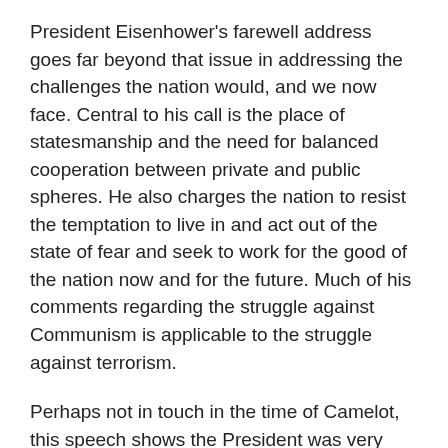President Eisenhower's farewell address goes far beyond that issue in addressing the challenges the nation would, and we now face. Central to his call is the place of statesmanship and the need for balanced cooperation between private and public spheres. He also charges the nation to resist the temptation to live in and act out of the state of fear and seek to work for the good of the nation now and for the future. Much of his comments regarding the struggle against Communism is applicable to the struggle against terrorism.
Perhaps not in touch in the time of Camelot, this speech shows the President was very much in touch with the challenges facing our nation through the ages.
https://m.youtube.com/watch?v=OyBNmecVtdU